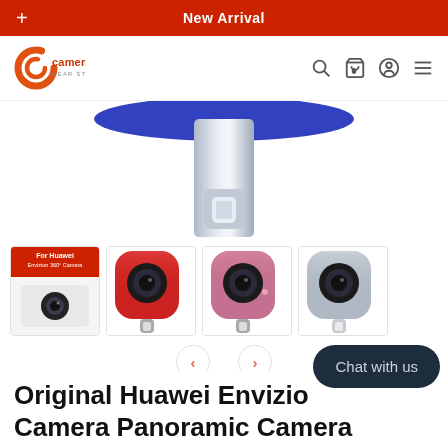New Arrival
[Figure (logo): Camera Gear Store logo - orange C letter mark with 'camera GEAR STORE' text]
[Figure (photo): Close-up product image of a blue and silver Huawei Envizion 360 panoramic camera USB-C module, showing the bottom/USB connector end]
[Figure (photo): Four product thumbnail images: 1) Product box with text 'For Huawei Envizion 360 Camera', 2) Red rounded-square camera module with USB-C, 3) Pink/rose rounded-square camera module with USB-C, 4) Silver/chrome rounded-square camera module with USB-C]
Original Huawei Envizion Camera Panoramic Camera